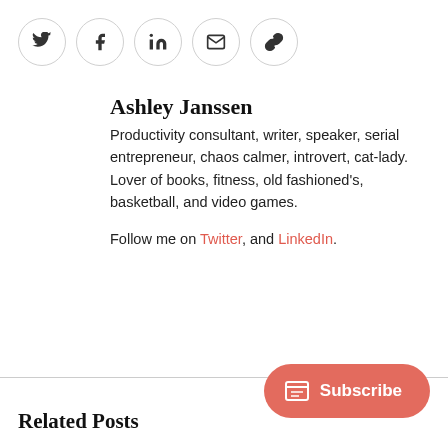[Figure (other): Row of five social sharing icon buttons (Twitter, Facebook, LinkedIn, Email, Link) each inside a light gray circle border]
Ashley Janssen
Productivity consultant, writer, speaker, serial entrepreneur, chaos calmer, introvert, cat-lady. Lover of books, fitness, old fashioned's, basketball, and video games.
Follow me on Twitter, and LinkedIn.
Related Posts
[Figure (other): Subscribe button (coral/salmon color, rounded pill shape) with a newsletter icon and 'Subscribe' text]